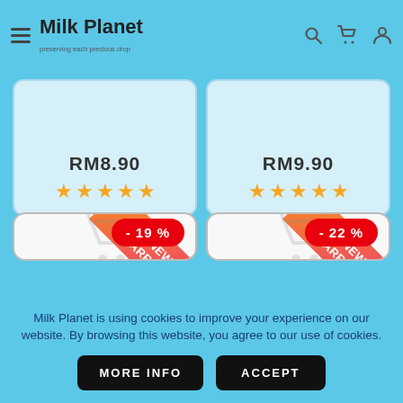Milk Planet — preserving each precious drop
[Figure (screenshot): Two partially visible product cards showing prices RM8.90 and RM9.90 each with 4.5-star ratings on a light blue background]
[Figure (screenshot): Two product cards with 'NEW ARRIVAL' ribbon banners, shopping cart placeholder icons, and discount badges showing -19% and -22%]
Milk Planet is using cookies to improve your experience on our website. By browsing this website, you agree to our use of cookies.
MORE INFO
ACCEPT